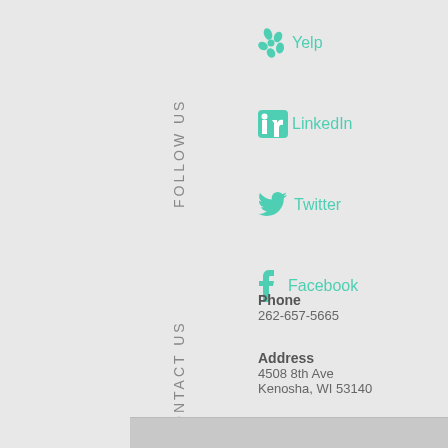FOLLOW US
Yelp
LinkedIn
Twitter
Facebook
CONTACT US
Phone
262-657-5665
Address
4508 8th Ave
Kenosha, WI 53140
[Figure (map): Map strip at bottom of page]